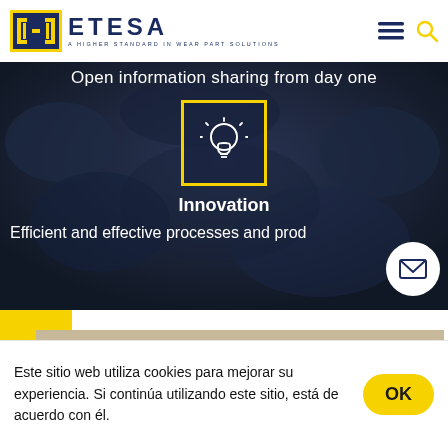[Figure (logo): ETESA logo with stylized bracket icon and tagline 'A Higher Standard In Wear Part Solutions']
[Figure (screenshot): ETESA website hero section with dark rocky/coal background, yellow-bordered lightbulb icon, text 'Open information sharing from day one', 'Innovation', 'Efficient and effective processes and prod...' and email circle button]
[Figure (photo): Construction machinery scene showing yellow grader and red excavator in dusty terrain, partially overlapping yellow block]
Este sitio web utiliza cookies para mejorar su experiencia. Si continúa utilizando este sitio, está de acuerdo con él.